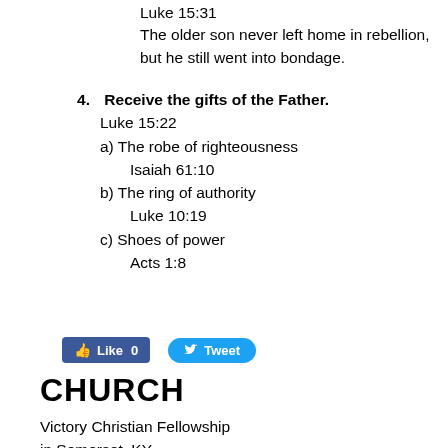Luke 15:31
The older son never left home in rebellion, but he still went into bondage.
4. Receive the gifts of the Father.
Luke 15:22
a) The robe of righteousness
   Isaiah 61:10
b) The ring of authority
   Luke 10:19
c) Shoes of power
   Acts 1:8
[Figure (other): Facebook Like button showing 'Like 0' and Twitter Tweet button]
CHURCH
Victory Christian Fellowship
in Somerset, KY